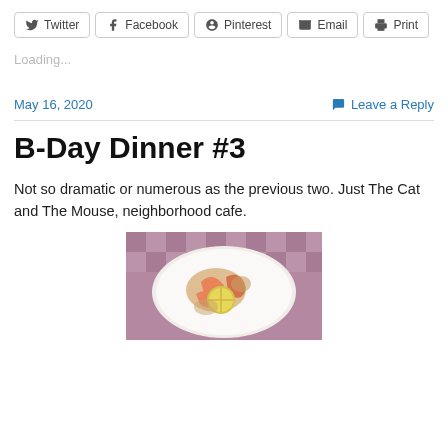Twitter | Facebook | Pinterest | Email | Print
Loading...
May 16, 2020   Leave a Reply
B-Day Dinner #3
Not so dramatic or numerous as the previous two. Just The Cat and The Mouse, neighborhood cafe.
[Figure (photo): Food photo showing a plate of shrimp pasta or seafood dish with a lemon slice on a white plate, on a checkered tablecloth background]